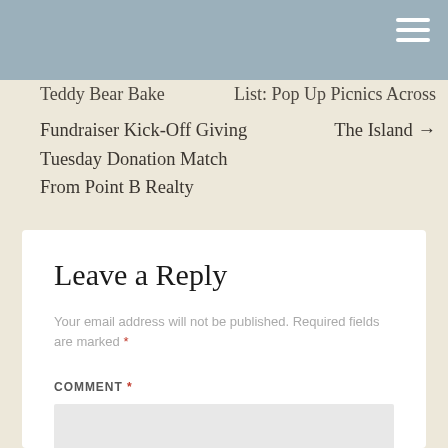Teddy Bear Bake Fundraiser Kick-Off Giving Tuesday Donation Match From Point B Realty
List: Pop Up Picnics Across The Island →
Leave a Reply
Your email address will not be published. Required fields are marked *
COMMENT *